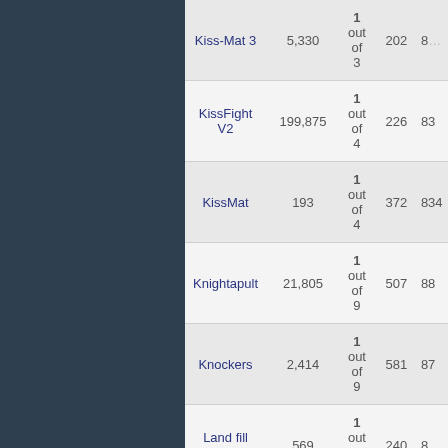| Game | Plays | Rank | Ratings | Score |
| --- | --- | --- | --- | --- |
| Kiss-Mat 3 | 5,330 | 1 out of 3 | 202 | 8... |
| KissFight V2 | 199,875 | 1 out of 4 | 226 | 83... |
| KissMat | 193 | 1 out of 4 | 372 | 834... |
| Knightapult | 21,805 | 1 out of 9 | 507 | 88... |
| Knockers | 2,414 | 1 out of 9 | 581 | 87... |
| Land fill Bill | 569 | 1 out of 5 | 240 | 8... |
| Last Action Hero | 1,050 | 1 out of 4 | 216 | 28... |
| Last Action Hero Returns | 378 | 1 out of 7 | 325 | 28... |
| Last Spy Solitaire | 5,705 | 1 out of 5 | 73 | 4... |
| Learn To Fly 3 | 2,526,908 | 1 out of 11 | 1460 | 870... |
| Letter A Mahjong | 65,320 | 1 out of 6 | 1072 | 839... |
| Letter B Mahjong | 66,900 | 1 out of 8 | 285 | 8... |